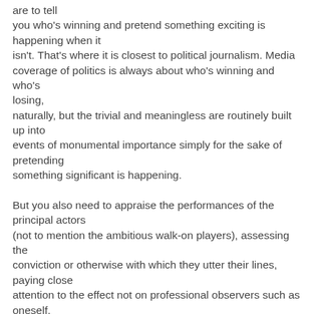are to tell you who's winning and pretend something exciting is happening when it isn't. That's where it is closest to political journalism. Media coverage of politics is always about who's winning and who's losing, naturally, but the trivial and meaningless are routinely built up into events of monumental importance simply for the sake of pretending something significant is happening.

But you also need to appraise the performances of the principal actors (not to mention the ambitious walk-on players), assessing the conviction or otherwise with which they utter their lines, paying close attention to the effect not on professional observers such as oneself, who to use the immortal phrase "don't know jack", but the hoi polloi in